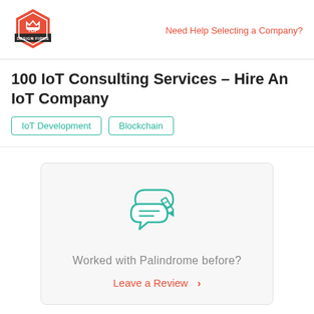[Figure (logo): Top Design Firms logo - red hexagon badge with crown and 'TOP DESIGN FIRMS' text]
Need Help Selecting a Company?
100 IoT Consulting Services – Hire An IoT Company
IoT Development
Blockchain
[Figure (illustration): Teal icon showing speech bubbles with lines and a pencil, representing leaving a review]
Worked with Palindrome before?
Leave a Review  >
Visit Site